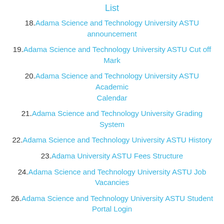List
18. Adama Science and Technology University ASTU announcement
19. Adama Science and Technology University ASTU Cut off Mark
20. Adama Science and Technology University ASTU Academic Calendar
21. Adama Science and Technology University Grading System
22. Adama Science and Technology University ASTU History
23. Adama University ASTU Fees Structure
24. Adama Science and Technology University ASTU Job Vacancies
26. Adama Science and Technology University ASTU Student Portal Login